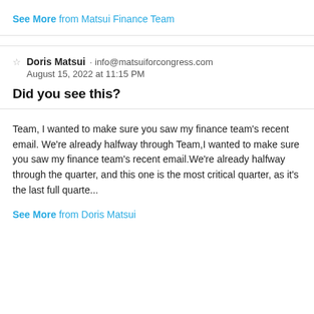See More from Matsui Finance Team
☆ Doris Matsui · info@matsuiforcongress.com
August 15, 2022 at 11:15 PM
Did you see this?
Team, I wanted to make sure you saw my finance team's recent email. We're already halfway through Team,I wanted to make sure you saw my finance team's recent email.We're already halfway through the quarter, and this one is the most critical quarter, as it's the last full quarte...
See More from Doris Matsui